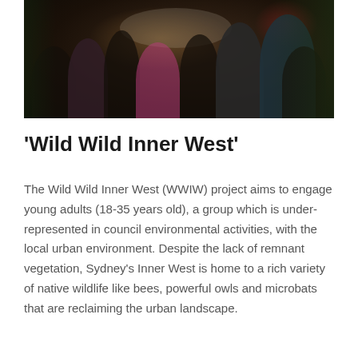[Figure (photo): Indoor evening gathering scene showing a group of young adults seated in a dimly lit venue, with plants visible in the background and warm ambient lighting.]
‘Wild Wild Inner West’
The Wild Wild Inner West (WWIW) project aims to engage young adults (18-35 years old), a group which is under-represented in council environmental activities, with the local urban environment. Despite the lack of remnant vegetation, Sydney’s Inner West is home to a rich variety of native wildlife like bees, powerful owls and microbats that are reclaiming the urban landscape.